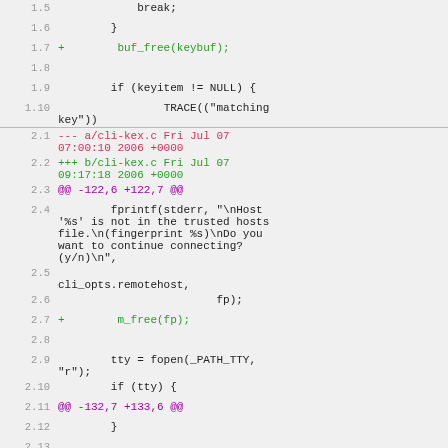[Figure (screenshot): Code diff showing two sections of changes to SSH key exchange C source files, with line numbers, added lines in green, removed lines in red/pink, and hunk headers in magenta.]